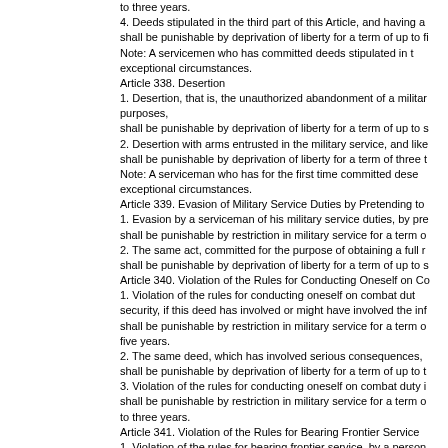to three years.
4. Deeds stipulated in the third part of this Article, and having a shall be punishable by deprivation of liberty for a term of up to fi Note: A servicemen who has committed deeds stipulated in t exceptional circumstances.
Article 338. Desertion
1. Desertion, that is, the unauthorized abandonment of a militar purposes, shall be punishable by deprivation of liberty for a term of up to s
2. Desertion with arms entrusted in the military service, and like shall be punishable by deprivation of liberty for a term of three t Note: A serviceman who has for the first time committed dese exceptional circumstances.
Article 339. Evasion of Military Service Duties by Pretending to
1. Evasion by a serviceman of his military service duties, by pre shall be punishable by restriction in military service for a term o
2. The same act, committed for the purpose of obtaining a full r shall be punishable by deprivation of liberty for a term of up to s
Article 340. Violation of the Rules for Conducting Oneself on Co
1. Violation of the rules for conducting oneself on combat dut security, if this deed has involved or might have involved the inf shall be punishable by restriction in military service for a term o five years.
2. The same deed, which has involved serious consequences, shall be punishable by deprivation of liberty for a term of up to t
3. Violation of the rules for conducting oneself on combat duty i shall be punishable by restriction in military service for a term o to three years.
Article 341. Violation of the Rules for Bearing Frontier Service
1. Violation of the rules for bearing frontier service, by a person the infliction of harm to the interest of state security, shall be punishable by restriction in military service for a term o to three years.